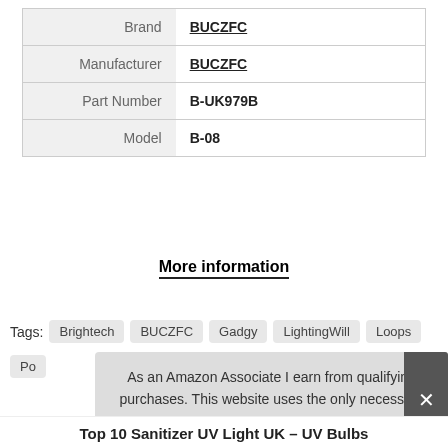|  |  |
| --- | --- |
| Brand | BUCZFC |
| Manufacturer | BUCZFC |
| Part Number | B-UK979B |
| Model | B-08 |
More information
Tags: Brightech BUCZFC Gadgy LightingWill Loops
Po...
As an Amazon Associate I earn from qualifying purchases. This website uses the only necessary cookies to ensure you get the best experience on our website. More information
Top 10 Sanitizer UV Light UK – UV Bulbs